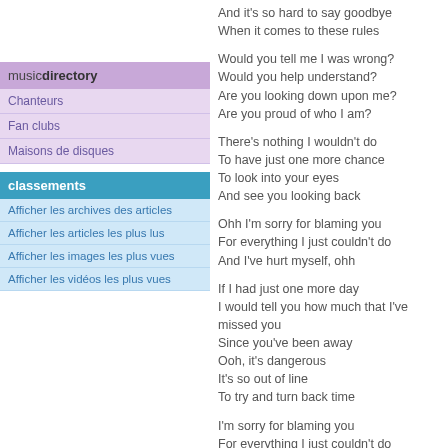And it's so hard to say goodbye
When it comes to these rules
Would you tell me I was wrong?
Would you help understand?
Are you looking down upon me?
Are you proud of who I am?
There's nothing I wouldn't do
To have just one more chance
To look into your eyes
And see you looking back
Ohh I'm sorry for blaming you
For everything I just couldn't do
And I've hurt myself, ohh
If I had just one more day
I would tell you how much that I've missed you
Since you've been away
Ooh, it's dangerous
It's so out of line
To try and turn back time
I'm sorry for blaming you
For everything I just couldn't do
And I've hurt myself by hurting you
Les textes de chansons, ainsi que leurs
musicdirectory
Chanteurs
Fan clubs
Maisons de disques
classements
Afficher les archives des articles
Afficher les articles les plus lus
Afficher les images les plus vues
Afficher les vidéos les plus vues